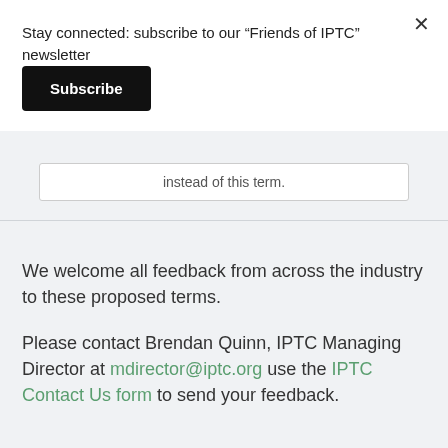Stay connected: subscribe to our “Friends of IPTC” newsletter
Subscribe
instead of this term.
We welcome all feedback from across the industry to these proposed terms.
Please contact Brendan Quinn, IPTC Managing Director at mdirector@iptc.org use the IPTC Contact Us form to send your feedback.